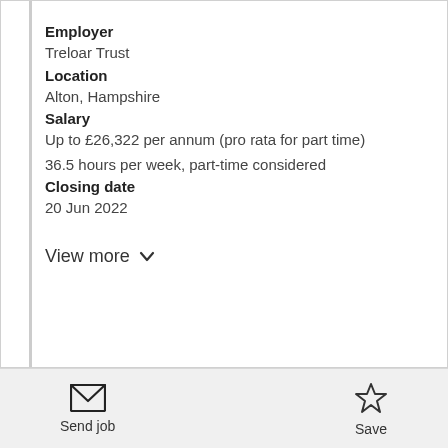Employer
Treloar Trust
Location
Alton, Hampshire
Salary
Up to £26,322 per annum (pro rata for part time)
36.5 hours per week, part-time considered
Closing date
20 Jun 2022
View more
Send job
Save